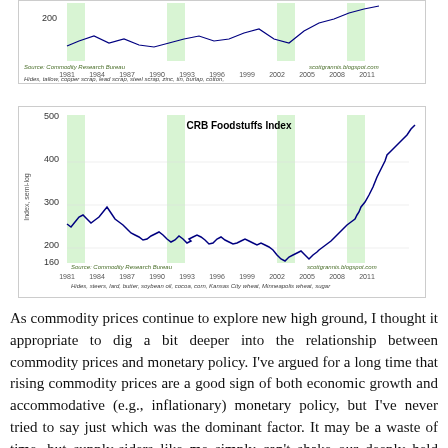[Figure (continuous-plot): Top portion of a line chart showing CRB Industrial Materials Index with green recession bands, x-axis from 1981 to 2011, y-axis showing value 200, source: Commodity Research Bureau]
[Figure (continuous-plot): Line chart of CRB Foodstuffs Index from 1981 to 2011 with green shaded recession bands. Y-axis labeled 'Index, semi-log' ranges 160 to 500. Blue line shows fluctuations around 200-280 range through 1990s then sharp rise to near 500 by 2011.]
As commodity prices continue to explore new high ground, I thought it appropriate to dig a bit deeper into the relationship between commodity prices and monetary policy. I've argued for a long time that rising commodity prices are a good sign of both economic growth and accommodative (e.g., inflationary) monetary policy, but I've never tried to say just which was the dominant factor. It may be a waste of time, but supply-siders like me simply can't shake our deeply held conviction that sensitive market prices are valuable and